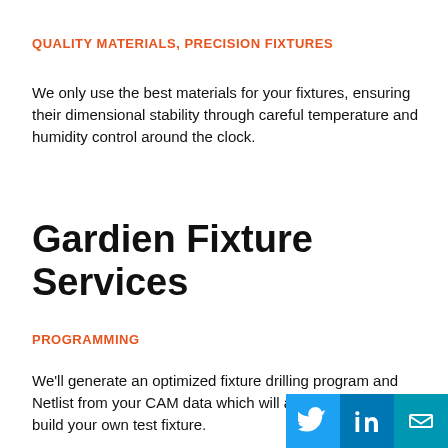QUALITY MATERIALS, PRECISION FIXTURES
We only use the best materials for your fixtures, ensuring their dimensional stability through careful temperature and humidity control around the clock.
Gardien Fixture Services
PROGRAMMING
We'll generate an optimized fixture drilling program and Netlist from your CAM data which will allow to drill and build your own test fixture.